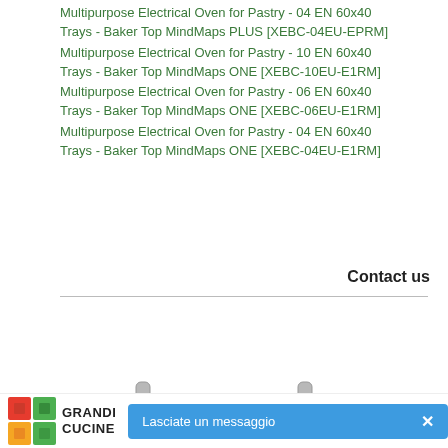Multipurpose Electrical Oven for Pastry - 04 EN 60x40 Trays - Baker Top MindMaps PLUS [XEBC-04EU-EPRM]
Multipurpose Electrical Oven for Pastry - 10 EN 60x40 Trays - Baker Top MindMaps ONE [XEBC-10EU-E1RM]
Multipurpose Electrical Oven for Pastry - 06 EN 60x40 Trays - Baker Top MindMaps ONE [XEBC-06EU-E1RM]
Multipurpose Electrical Oven for Pastry - 04 EN 60x40 Trays - Baker Top MindMaps ONE [XEBC-04EU-E1RM]
Contact us
[Figure (photo): A metal oven stand/rack with four corner posts and two horizontal crossbars, shown in a light grey/silver color, viewed from a slightly elevated perspective.]
[Figure (logo): Grandi Cucine logo with colorful square icon and text GRANDI CUCINE]
Lasciate un messaggio